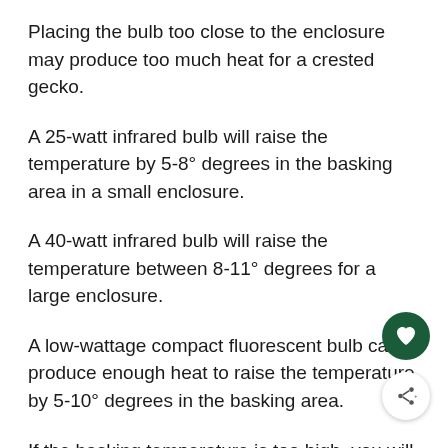Placing the bulb too close to the enclosure may produce too much heat for a crested gecko.
A 25-watt infrared bulb will raise the temperature by 5-8° degrees in the basking area in a small enclosure.
A 40-watt infrared bulb will raise the temperature between 8-11° degrees for a large enclosure.
A low-wattage compact fluorescent bulb can produce enough heat to raise the temperature by 5-10° degrees in the basking area.
If the basking temperature is too high, you will